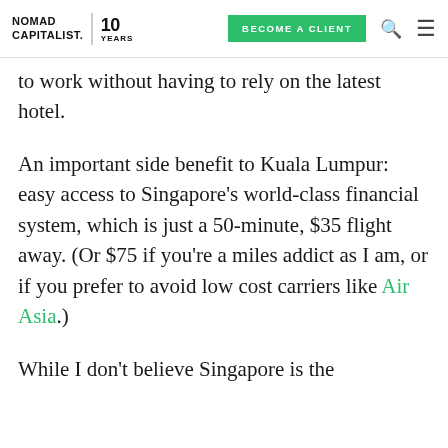NOMAD CAPITALIST. | 10 YEARS | BECOME A CLIENT
to work without having to rely on the latest hotel.
An important side benefit to Kuala Lumpur: easy access to Singapore's world-class financial system, which is just a 50-minute, $35 flight away. (Or $75 if you're a miles addict as I am, or if you prefer to avoid low cost carriers like Air Asia.)
While I don't believe Singapore is the